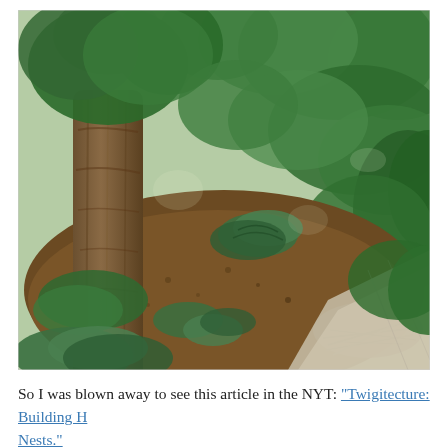[Figure (photo): A garden photograph taken from above, showing a large tree trunk on the left, surrounded by various shade-loving plants including hostas and ferns on a mulched bed. Dense green trees and shrubs fill the background. A concrete path or patio is visible in the lower right corner. There is also a bundle of dry twigs/sticks in the lower right area of the garden bed.]
So I was blown away to see this article in the NYT: "Twigitecture: Building H Nests."